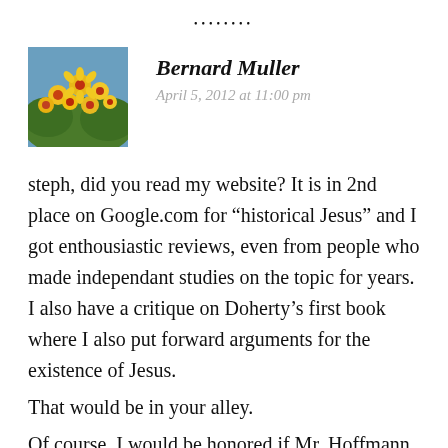••••••••
[Figure (photo): Avatar photo of flowers — yellow and red blooms against blue sky background]
Bernard Muller
April 5, 2012 at 11:00 pm
steph, did you read my website? It is in 2nd place on Google.com for “historical Jesus” and I got enthousiastic reviews, even from people who made independant studies on the topic for years. I also have a critique on Doherty’s first book where I also put forward arguments for the existence of Jesus.
That would be in your alley.
Of course, I would be honored if Mr. Hoffmann